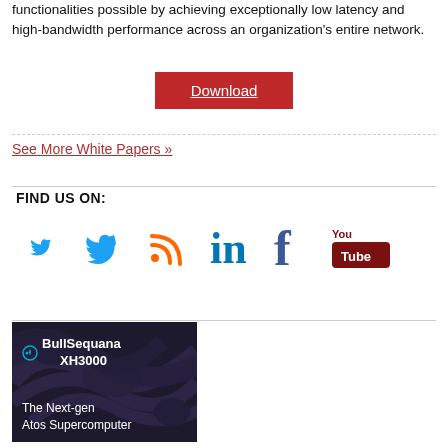functionalities possible by achieving exceptionally low latency and high-bandwidth performance across an organization's entire network.
Download
See More White Papers »
FIND US ON:
[Figure (other): Social media icons: Twitter (blue bird), RSS (orange signal), LinkedIn (blue 'in'), Facebook (blue 'f'), YouTube (red/brown 'You Tube' icon)]
[Figure (other): Advertisement for BullSequana XH3000 - The Next-gen Atos Supercomputer. Dark background with abstract swirling pattern and Atos logo.]